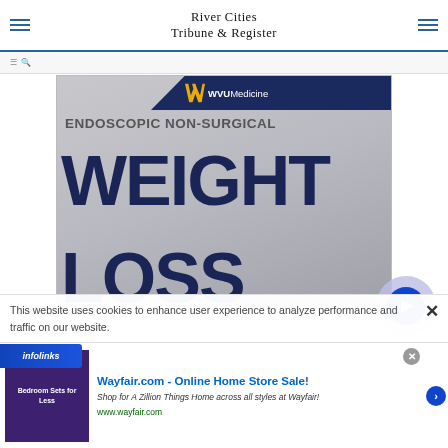River Cities Tribune & Register
[Figure (illustration): WVU Medicine advertisement for Endoscopic Non-Surgical Weight Loss. Dark blue diagonal banner in top right with WVU Medicine logo and flying WV bird. Large bold text reads: ENDOSCOPIC NON-SURGICAL in gray, then WEIGHT in large dark navy, then LOSS in large dark navy. Silver/gray gradient background.]
This website uses cookies to enhance user experience to analyze performance and traffic on our website.
[Figure (logo): Infolinks logo - blue background with white italic text 'infolinks']
[Figure (illustration): Wayfair.com advertisement - Online Home Store Sale! Shop for A Zillion Things Home across all styles at Wayfair! www.wayfair.com. Shows purple bedroom furniture image on left, text on right with play button.]